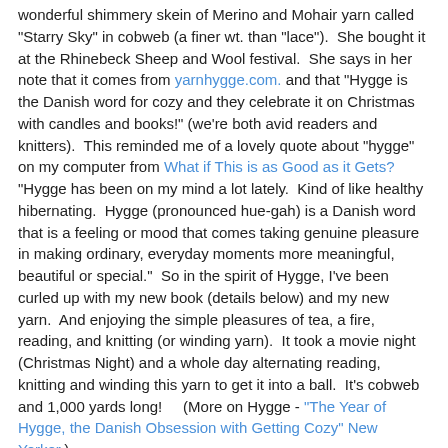wonderful shimmery skein of Merino and Mohair yarn called "Starry Sky" in cobweb (a finer wt. than "lace").  She bought it at the Rhinebeck Sheep and Wool festival.  She says in her note that it comes from yarnhygge.com. and that "Hygge is the Danish word for cozy and they celebrate it on Christmas with candles and books!" (we're both avid readers and knitters).  This reminded me of a lovely quote about "hygge" on my computer from What if This is as Good as it Gets?   "Hygge has been on my mind a lot lately.  Kind of like healthy hibernating.  Hygge (pronounced hue-gah) is a Danish word that is a feeling or mood that comes taking genuine pleasure in making ordinary, everyday moments more meaningful, beautiful or special."  So in the spirit of Hygge, I've been curled up with my new book (details below) and my new yarn.  And enjoying the simple pleasures of tea, a fire, reading, and knitting (or winding yarn).  It took a movie night (Christmas Night) and a whole day alternating reading, knitting and winding this yarn to get it into a ball.  It's cobweb and 1,000 yards long!    (More on Hygge - "The Year of Hygge, the Danish Obsession with Getting Cozy" New Yorker.)